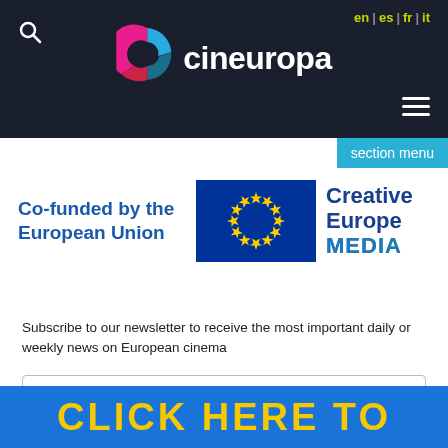cineuropa — en | es | fr | it
[Figure (logo): Cineuropa logo with colorful C icon and white text on dark background header]
section menu
[Figure (logo): Co-funded by the European Union — EU flag with yellow stars on blue background — Creative Europe MEDIA logo]
Subscribe to our newsletter to receive the most important daily or weekly news on European cinema
e-mail address
CLICK HERE TO